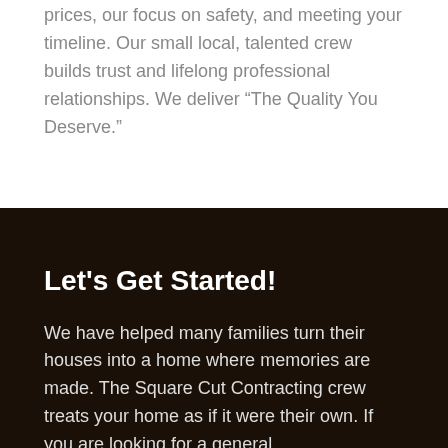prices, our focus on safety, and meeting your timeline. Our small local, talented crew builds trust and lifelong professional relationships. We deliver “The Quality You Deserve.”
Let's Get Started!
We have helped many families turn their houses into a home where memories are made. The Square Cut Contracting crew treats your home as if it were their own. If you are looking for a general contractor in the Knoxburg area, please contact us.